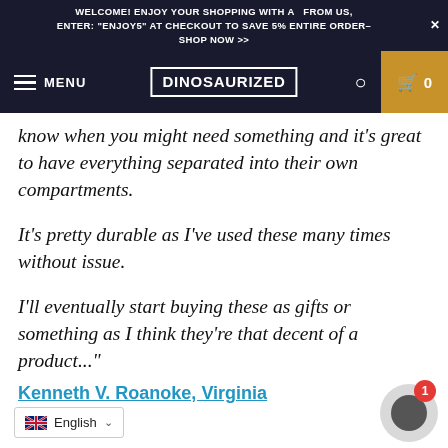WELCOME! ENJOY YOUR SHOPPING WITH A  FROM US, ENTER: "ENJOY5" AT CHECKOUT TO SAVE 5% ENTIRE ORDER- X SHOP NOW >>
MENU | DINOSAURIZED | (search) | cart 0
know when you might need something and it's great to have everything separated into their own compartments.
It's pretty durable as I've used these many times without issue.
I'll eventually start buying these as gifts or something as I think they're that decent of a product..."
Kenneth V. Roanoke, Virginia